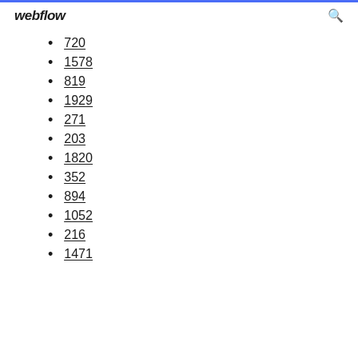webflow
720
1578
819
1929
271
203
1820
352
894
1052
216
1471